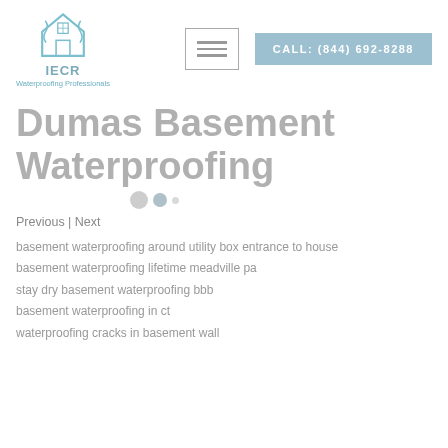[Figure (logo): IECR Waterproofing Professionals logo with house icon in teal/blue]
Dumas Basement Waterproofing
Previous | Next
basement waterproofing around utility box entrance to house
basement waterproofing lifetime meadville pa
stay dry basement waterproofing bbb
basement waterproofing in ct
waterproofing cracks in basement wall